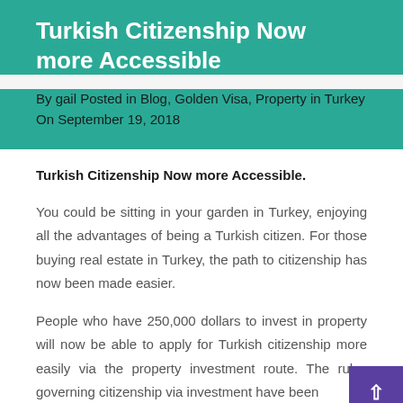Turkish Citizenship Now more Accessible
By gail Posted in Blog, Golden Visa, Property in Turkey On September 19, 2018
Turkish Citizenship Now more Accessible.
You could be sitting in your garden in Turkey, enjoying all the advantages of being a Turkish citizen. For those buying real estate in Turkey, the path to citizenship has now been made easier.
People who have 250,000 dollars to invest in property will now be able to apply for Turkish citizenship more easily via the property investment route. The rules governing citizenship via investment have been